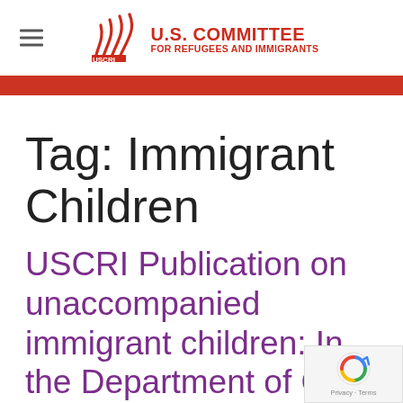U.S. COMMITTEE FOR REFUGEES AND IMMIGRANTS (USCRI)
Tag: Immigrant Children
USCRI Publication on unaccompanied immigrant children: In the Department of Child...